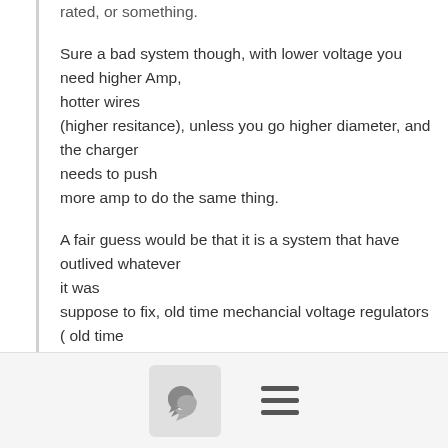rated, or something.
Sure a bad system though, with lower voltage you need higher Amp,
hotter wires
(higher resitance), unless you go higher diameter, and the charger
needs to push
more amp to do the same thing.
A fair guess would be that it is a system that have outlived whatever
it was
suppose to fix, old time mechancial voltage regulators ( old time
clickers) that
wasn't too exact when they got hot, so they built in a safety level in
the max
voltage output etc. and now it is a standard that
[Figure (other): Bottom toolbar with a chat bubble icon button in a rounded square and a hamburger menu icon]